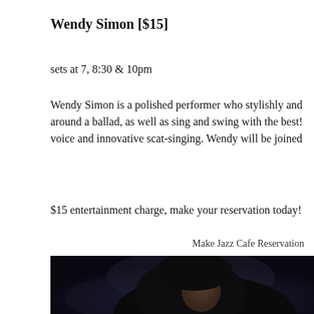Wendy Simon [$15]
sets at 7, 8:30 & 10pm
Wendy Simon is a polished performer who stylishly and around a ballad, as well as sing and swing with the best! voice and innovative scat-singing. Wendy will be joined
$15 entertainment charge, make your reservation today!
Make Jazz Cafe Reservation
[Figure (photo): Dark atmospheric photo showing the silhouette and partial face of a performer with dark curly hair against a dark background]